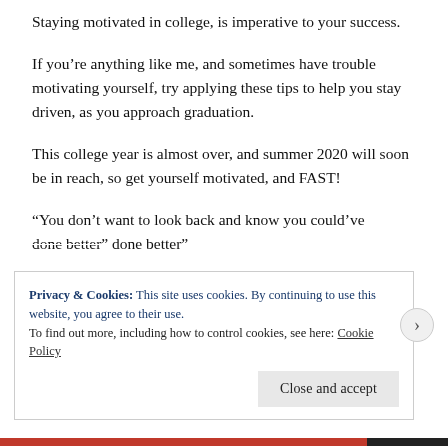Staying motivated in college, is imperative to your success.
If you’re anything like me, and sometimes have trouble motivating yourself, try applying these tips to help you stay driven, as you approach graduation.
This college year is almost over, and summer 2020 will soon be in reach, so get yourself motivated, and FAST!
“You don’t want to look back and know you could’ve done better”
Privacy & Cookies: This site uses cookies. By continuing to use this website, you agree to their use.
To find out more, including how to control cookies, see here: Cookie Policy